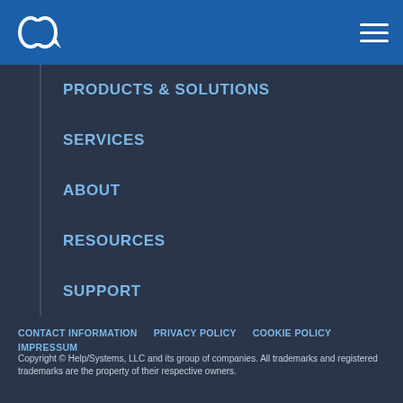[Figure (logo): Help/Systems logo icon — white speech bubble with arrow, on blue header bar]
PRODUCTS & SOLUTIONS
SERVICES
ABOUT
RESOURCES
SUPPORT
CONTACT INFORMATION   PRIVACY POLICY   COOKIE POLICY   IMPRESSUM   Copyright © Help/Systems, LLC and its group of companies. All trademarks and registered trademarks are the property of their respective owners.